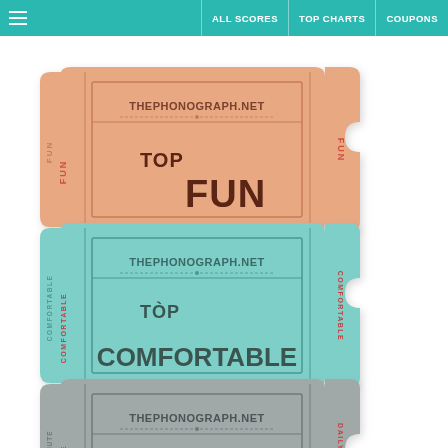ALL SCORES | TOP CHARTS | COUPONS
[Figure (illustration): Ticket stub / coupon badge: salmon/orange color with text TOP FUN and THEPHONOGRAPH.NET]
[Figure (illustration): Ticket stub / coupon badge: teal/mint color with text TOP COMFORTABLE and THEPHONOGRAPH.NET]
[Figure (illustration): Ticket stub / coupon badge: gray color with text TOP DAILY COMMUTE and THEPHONOGRAPH.NET]
[Figure (illustration): Ticket stub / coupon badge: teal/mint color, partially visible at bottom, category label cut off]